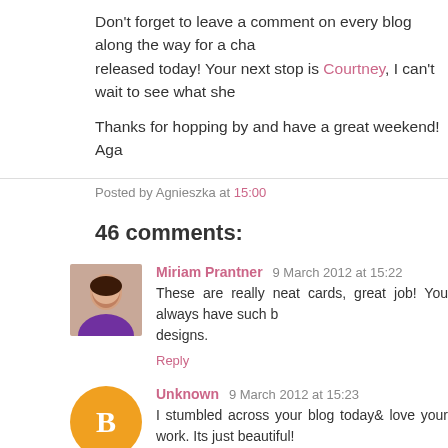Don't forget to leave a comment on every blog along the way for a cha released today! Your next stop is Courtney, I can't wait to see what she
Thanks for hopping by and have a great weekend!
Aga
Posted by Agnieszka at 15:00
46 comments:
Miriam Prantner  9 March 2012 at 15:22
These are really neat cards, great job! You always have such b designs.
Reply
Unknown  9 March 2012 at 15:23
I stumbled across your blog today& love your work. Its just beautiful!
Reply